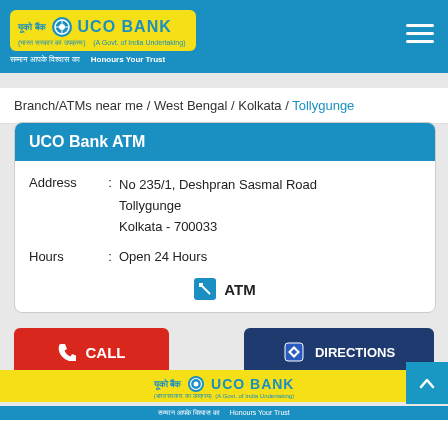[Figure (logo): UCO Bank logo on yellow background with Hindi text, displayed in blue header with hamburger menu]
Branch/ATMs near me / West Bengal / Kolkata / Tollygunge
UCO Bank ATM
Address : No 235/1, Deshpran Sasmal Road Tollygunge Kolkata - 700033
Hours : Open 24 Hours
ATM
CALL
DIRECTIONS
[Figure (logo): UCO Bank footer logo on yellow and blue banner]